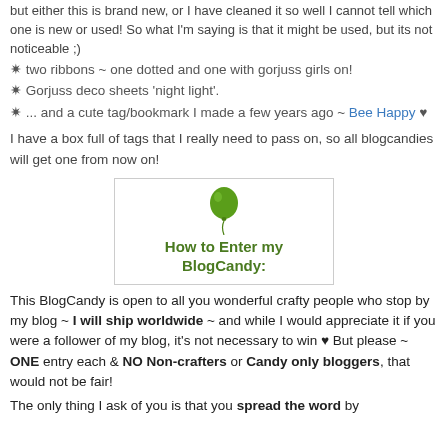but either this is brand new, or I have cleaned it so well I cannot tell which one is new or used! So what I'm saying is that it might be used, but its not noticeable ;)
✿ two ribbons ~ one dotted and one with gorjuss girls on!
✿ Gorjuss deco sheets 'night light'.
✿ ... and a cute tag/bookmark I made a few years ago ~ Bee Happy ♥
I have a box full of tags that I really need to pass on, so all blogcandies will get one from now on!
[Figure (illustration): A banner graphic with a green balloon and cursive text reading 'How to Enter my BlogCandy:']
This BlogCandy is open to all you wonderful crafty people who stop by my blog ~ I will ship worldwide ~ and while I would appreciate it if you were a follower of my blog, it's not necessary to win ♥ But please ~ ONE entry each & NO Non-crafters or Candy only bloggers, that would not be fair!
The only thing I ask of you is that you spread the word by